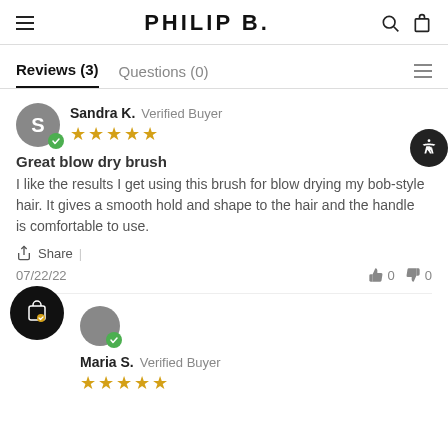PHILIP B.
Reviews (3)   Questions (0)
Sandra K.  Verified Buyer
★★★★★
Great blow dry brush
I like the results I get using this brush for blow drying my bob-style hair. It gives a smooth hold and shape to the hair and the handle is comfortable to use.
Share
07/22/22   👍 0   👎 0
Maria S.  Verified Buyer
★★★★★